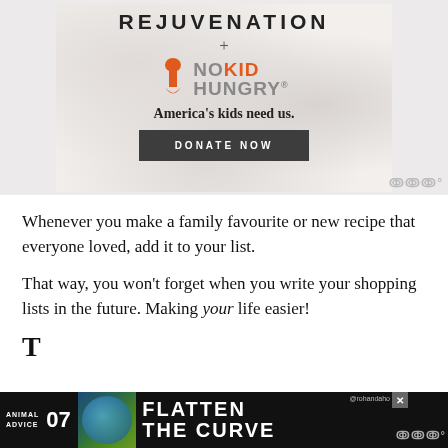[Figure (other): Advertisement banner for Rejuvenation + No Kid Hungry charity. Shows logo text 'REJUVENATION' with '+' symbol and No Kid Hungry logo (orange hourglass/child icon). Text reads 'America's kids need us.' with a dark 'DONATE NOW' button.]
Whenever you make a family favourite or new recipe that everyone loved, add it to your list.
That way, you won't forget when you write your shopping lists in the future. Making your life easier!
[Figure (screenshot): Bottom advertisement banner showing 'ANIMAL ADVICE 07' on dark background with colorful image and text 'FLATTEN THE CURVE' with @rohandaho attribution and close button.]